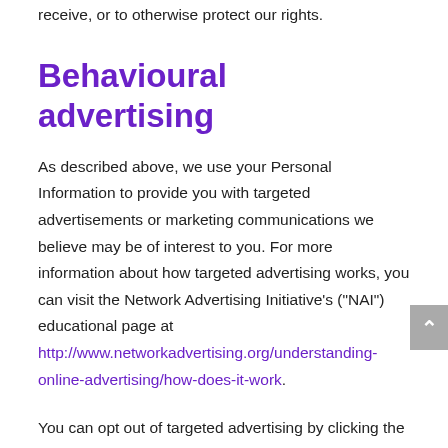receive, or to otherwise protect our rights.
Behavioural advertising
As described above, we use your Personal Information to provide you with targeted advertisements or marketing communications we believe may be of interest to you. For more information about how targeted advertising works, you can visit the Network Advertising Initiative’s (“NAI”) educational page at http://www.networkadvertising.org/understanding-online-advertising/how-does-it-work.
You can opt out of targeted advertising by clicking the “Unsubscribe” link in the footer of all emails that we send to you.